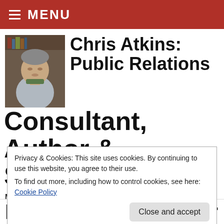≡ MENU
[Figure (photo): Headshot of Chris Atkins, a man in a grey sweater seated at a desk with books behind him]
Chris Atkins: Public Relations Consultant, Author & Speaker
MY VIEWS ON THE WORLD OF PR AND PRETTY MUCH EVERYTHING ELSE
Privacy & Cookies: This site uses cookies. By continuing to use this website, you agree to their use.
To find out more, including how to control cookies, see here: Cookie Policy
Close and accept
I've Got Your Number